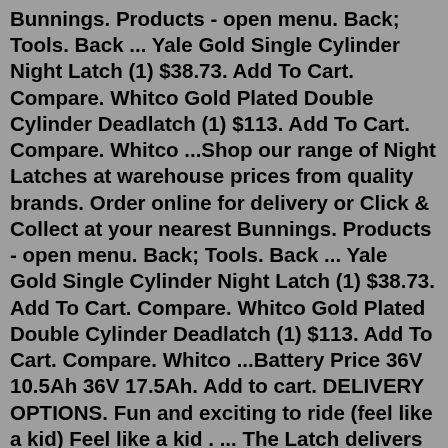Bunnings. Products - open menu. Back; Tools. Back ... Yale Gold Single Cylinder Night Latch (1) $38.73. Add To Cart. Compare. Whitco Gold Plated Double Cylinder Deadlatch (1) $113. Add To Cart. Compare. Whitco ...Shop our range of Night Latches at warehouse prices from quality brands. Order online for delivery or Click & Collect at your nearest Bunnings. Products - open menu. Back; Tools. Back ... Yale Gold Single Cylinder Night Latch (1) $38.73. Add To Cart. Compare. Whitco Gold Plated Double Cylinder Deadlatch (1) $113. Add To Cart. Compare. Whitco ...Battery Price 36V 10.5Ah 36V 17.5Ah. Add to cart. DELIVERY OPTIONS. Fun and exciting to ride (feel like a kid) Feel like a kid . ... The Latch delivers best-in-class range and power in a compact package. Once you ride a Pedego, everything else is just an e-bike.CWYEQXGS 6 Pack Spring Loaded Butterfly Twist Latch, 304 Stainless Steel Twist Latch Spring Butterfly Draw Latch, Wooden Box Chest Rotary Draw Latch for Case Box. $1699. Get it as soon as Sat, Jul 22. FREE Shipping on orders over...